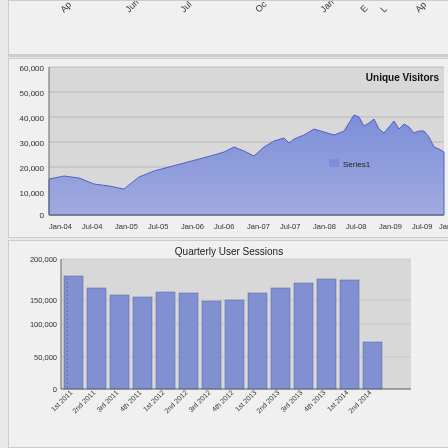[Figure (continuous-plot): Partially visible top chart showing x-axis labels: Ap, Jun, Jul, Oc, Jan, E, L, Ap]
[Figure (area-chart): Area chart showing Unique Visitors (Series1) from Jan-04 to Jan-10, area filled in blue/purple with gray upper region up to 60,000. Values rise from ~15,000 in 2004 to peaks of ~50,000 in 2008-2009.]
[Figure (bar-chart): Quarterly User Sessions]